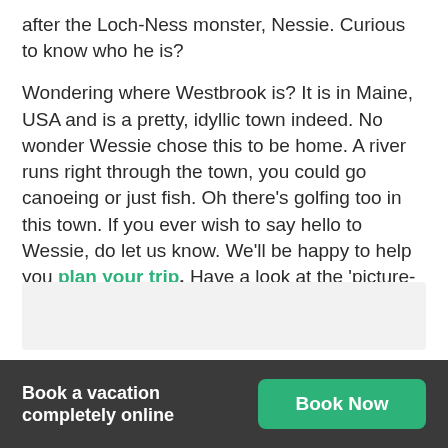after the Loch-Ness monster, Nessie. Curious to know who he is?
Wondering where Westbrook is? It is in Maine, USA and is a pretty, idyllic town indeed. No wonder Wessie chose this to be home. A river runs right through the town, you could go canoeing or just fish. Oh there's golfing too in this town. If you ever wish to say hello to Wessie, do let us know. We'll be happy to help you plan your trip. Have a look at the 'picture-postcard' looks of the town..
[Figure (other): Gray placeholder box for an image of Westbrook town]
Book a vacation completely online